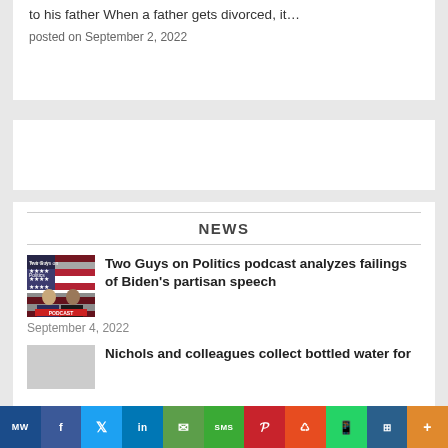to his father When a father gets divorced, it…
posted on September 2, 2022
NEWS
[Figure (photo): Two Guys on Politics podcast thumbnail with two men and American flag background]
Two Guys on Politics podcast analyzes failings of Biden's partisan speech
September 4, 2022
Nichols and colleagues collect bottled water for